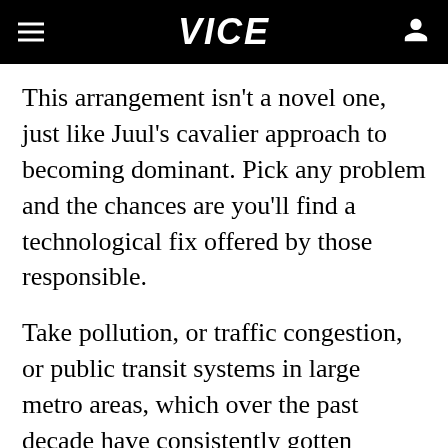VICE
This arrangement isn't a novel one, just like Juul's cavalier approach to becoming dominant. Pick any problem and the chances are you'll find a technological fix offered by those responsible.
Take pollution, or traffic congestion, or public transit systems in large metro areas, which over the past decade have consistently gotten worse. One major reason for that trend is the expansion of app-based ride-hail platforms like Uber and Lyft. Thanks to a relatively hands-off approach by policymakers nationwide, these